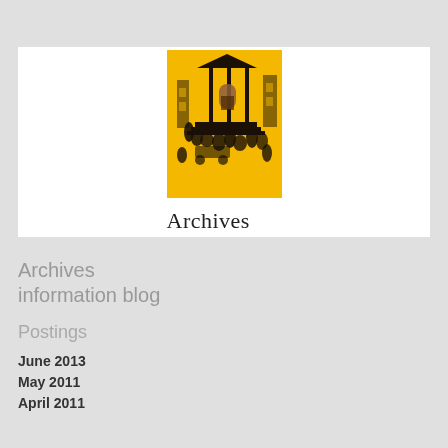[Figure (logo): Archives logo with yellow background showing historical engraving of people outside a building, with 'Archives' text below]
Archives information blog
Postings
June 2013
May 2011
April 2011